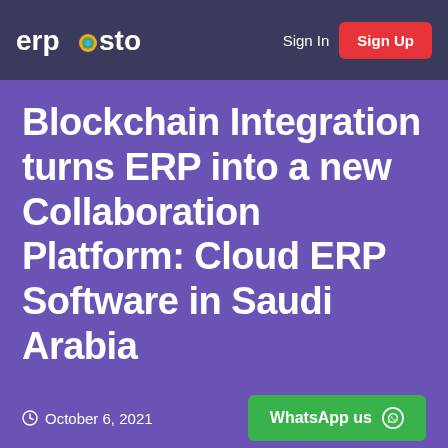ERPosto — Sign In | Sign Up
Blockchain Integration turns ERP into a new Collaboration Platform: Cloud ERP Software in Saudi Arabia
October 6, 2021
WhatsApp us